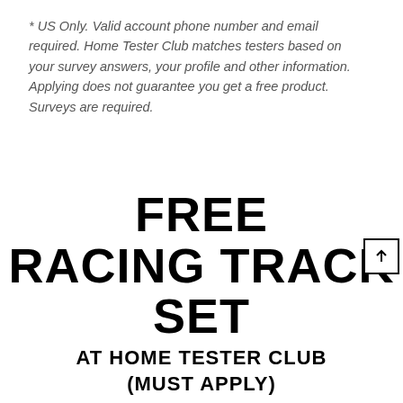* US Only. Valid account phone number and email required. Home Tester Club matches testers based on your survey answers, your profile and other information. Applying does not guarantee you get a free product. Surveys are required.
FREE RACING TRACK SET AT HOME TESTER CLUB (MUST APPLY)